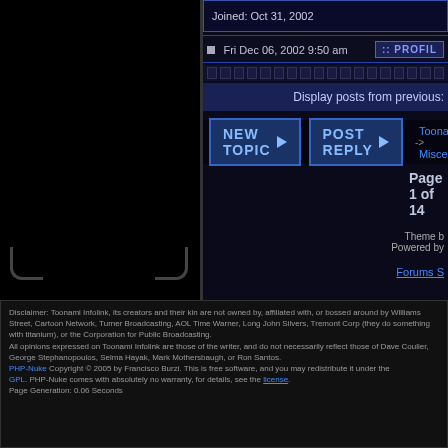Joined: Oct 31, 2002
Fri Dec 06, 2002 9:50 am
PROFILE
Display posts from previous:
[Figure (screenshot): NEW TOPIC and POST REPLY buttons with blue styling]
Toonami -> Misce
Page 1 of 14
Theme b Powered by
Forums S
Disclaimer: Toonami Infolink, its creators and their kin are not owned by, affiliated with, or bossed around by Williams Street, Cartoon Network, Turner Broadcasting, AOL Time Warner, Long John Silvers, Tremont Corp (they do something with titanium), or the Corporation for Public Broadcasting. All opinions expressed on Toonami Infolink are those of the writer, and do not necessarily reflect those of Dave Coulier, George Stephanopoulos, Selma Hayak, Mark Mothersbaugh, or Ron Santos. PHP-Nuke Copyright © 2005 by Francisco Burzi. This is free software, and you may redistribute it under the GPL. PHP-Nuke comes with absolutely no warranty, for details, see the license. Page Generation: 0.06 Seconds